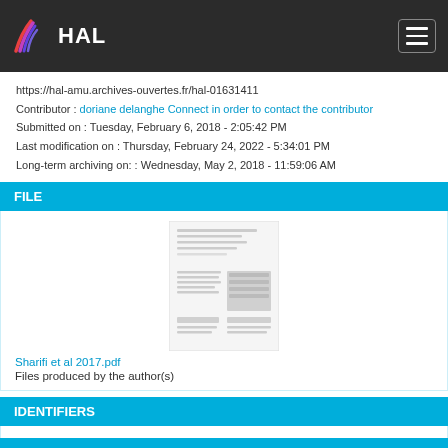HAL
https://hal-amu.archives-ouvertes.fr/hal-01631411
Contributor : doriane delanghe Connect in order to contact the contributor
Submitted on : Tuesday, February 6, 2018 - 2:05:42 PM
Last modification on : Thursday, February 24, 2022 - 5:34:01 PM
Long-term archiving on: : Wednesday, May 2, 2018 - 11:59:06 AM
FILE
[Figure (other): Thumbnail preview of PDF document Sharifi et al 2017.pdf]
Sharifi et al 2017.pdf
Files produced by the author(s)
IDENTIFIERS
HAL Id : hal-01631411, version 1
DOI : 10.1016/j.epsl.2017.10.001